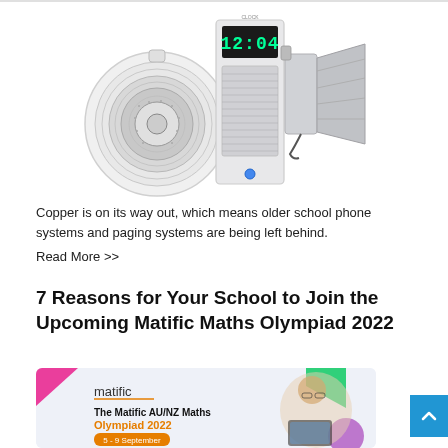[Figure (photo): Product photo showing a ceiling speaker (round, white), a digital clock/intercom panel showing 12:04, and a PA horn/megaphone speaker, arranged together as a school paging system product group.]
Copper is on its way out, which means older school phone systems and paging systems are being left behind.
Read More >>
7 Reasons for Your School to Join the Upcoming Matific Maths Olympiad 2022
[Figure (photo): Matific AU/NZ Maths Olympiad 2022 promotional banner. Shows the Matific logo, text 'The Matific AU/NZ Maths Olympiad 2022' and 'Olympiad 2022' in orange, a date badge '5 - 9 September', and a young girl with glasses holding a tablet on the right side. Colorful geometric shapes (pink, green, purple triangles) in the background on a light blue/grey background.]